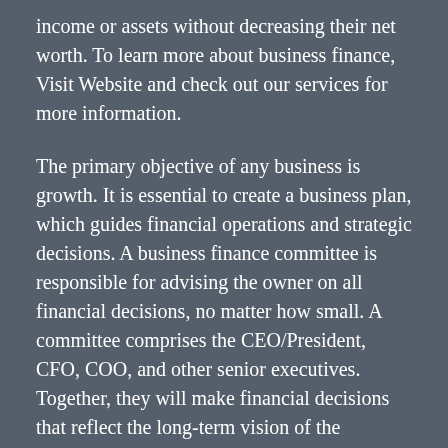income or assets without decreasing their net worth. To learn more about business finance, Visit Website and check out our services for more information.
The primary objective of any business is growth. It is essential to create a business plan, which guides financial operations and strategic decisions. A business finance committee is responsible for advising the owner on all financial decisions, no matter how small. A committee comprises the CEO/President, CFO, COO, and other senior executives. Together, they will make financial decisions that reflect the long-term vision of the company.